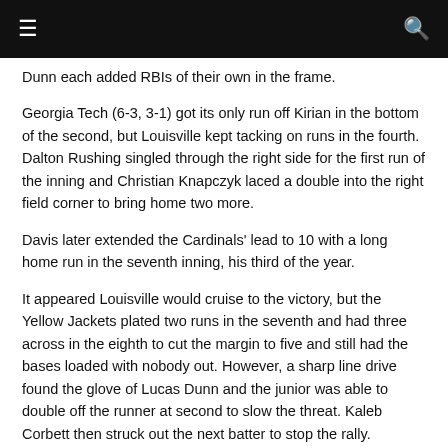☰  🔍
Dunn each added RBIs of their own in the frame.
Georgia Tech (6-3, 3-1) got its only run off Kirian in the bottom of the second, but Louisville kept tacking on runs in the fourth. Dalton Rushing singled through the right side for the first run of the inning and Christian Knapczyk laced a double into the right field corner to bring home two more.
Davis later extended the Cardinals' lead to 10 with a long home run in the seventh inning, his third of the year.
It appeared Louisville would cruise to the victory, but the Yellow Jackets plated two runs in the seventh and had three across in the eighth to cut the margin to five and still had the bases loaded with nobody out. However, a sharp line drive found the glove of Lucas Dunn and the junior was able to double off the runner at second to slow the threat. Kaleb Corbett then struck out the next batter to stop the rally.
Trey Leonard helped the Cardinals get a couple runs back in the ninth, lifting a two-run homer into the trees beyond the right field